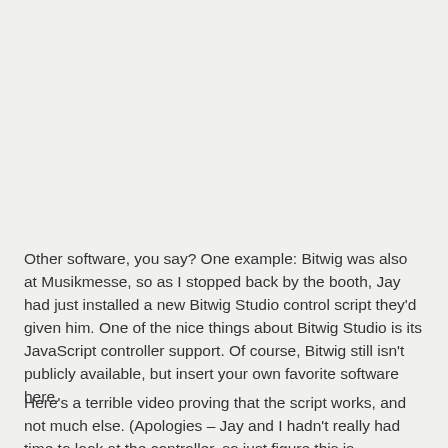Other software, you say? One example: Bitwig was also at Musikmesse, so as I stopped back by the booth, Jay had just installed a new Bitwig Studio control script they'd given him. One of the nice things about Bitwig Studio is its JavaScript controller support. Of course, Bitwig still isn't publicly available, but insert your own favorite software here.
Here's a terrible video proving that the script works, and not much else. (Apologies – Jay and I hadn't really had time to look at the controller, so just figure this is...